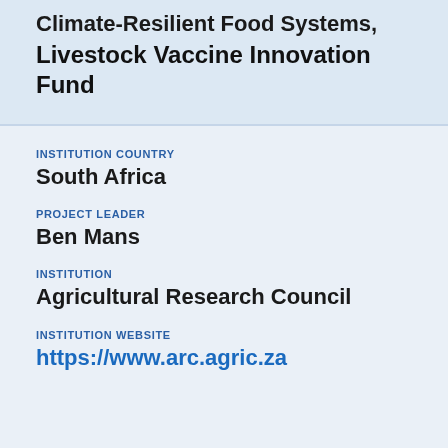Climate-Resilient Food Systems, Livestock Vaccine Innovation Fund
INSTITUTION COUNTRY
South Africa
PROJECT LEADER
Ben Mans
INSTITUTION
Agricultural Research Council
INSTITUTION WEBSITE
https://www.arc.agric.za